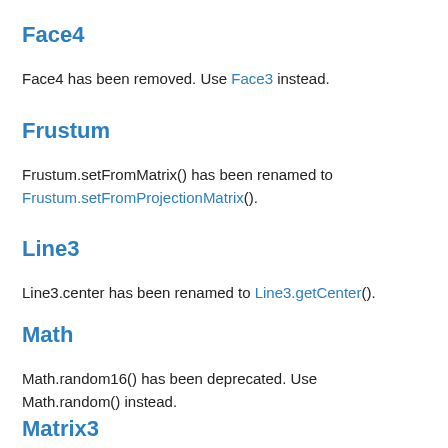Face4
Face4 has been removed. Use Face3 instead.
Frustum
Frustum.setFromMatrix() has been renamed to Frustum.setFromProjectionMatrix().
Line3
Line3.center has been renamed to Line3.getCenter().
Math
Math.random16() has been deprecated. Use Math.random() instead.
Matrix3